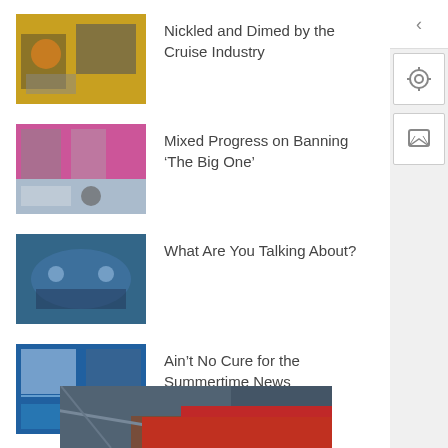Nickled and Dimed by the Cruise Industry
Mixed Progress on Banning ‘The Big One’
What Are You Talking About?
Ain’t No Cure for the Summertime News (10.08.2022)
SPECIAL OFFER!
[Figure (photo): Promotional image for special offer, showing industrial or luggage scene with red object]